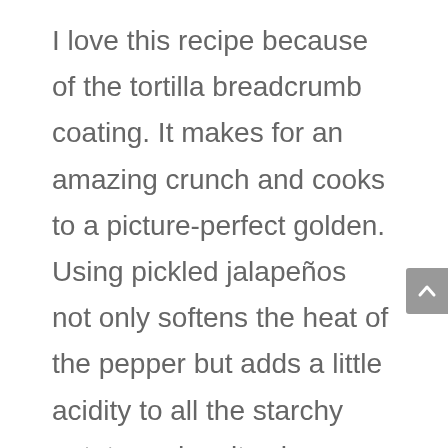I love this recipe because of the tortilla breadcrumb coating. It makes for an amazing crunch and cooks to a picture-perfect golden. Using pickled jalapeños not only softens the heat of the pepper but adds a little acidity to all the starchy potato and melty cheese. As a bonus,